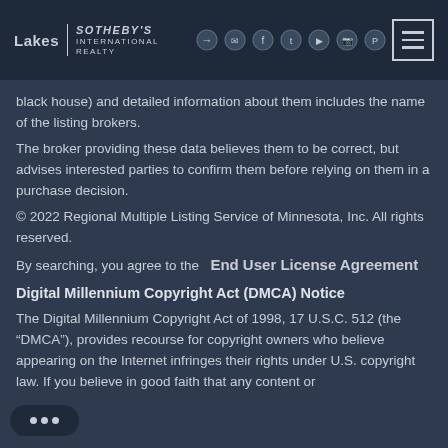Lakes Sotheby's International Realty - Navigation header with social icons and menu button
black house) and detailed information about them includes the name of the listing brokers.
The broker providing these data believes them to be correct, but advises interested parties to confirm them before relying on them in a purchase decision.
© 2022 Regional Multiple Listing Service of Minnesota, Inc. All rights reserved.
By searching, you agree to the   End User License Agreement
Digital Millennium Copyright Act (DMCA) Notice
The Digital Millennium Copyright Act of 1998, 17 U.S.C. 512 (the "DMCA"), provides recourse for copyright owners who believe appearing on the Internet infringes their rights under U.S. copyright law. If you believe in good faith that any content or